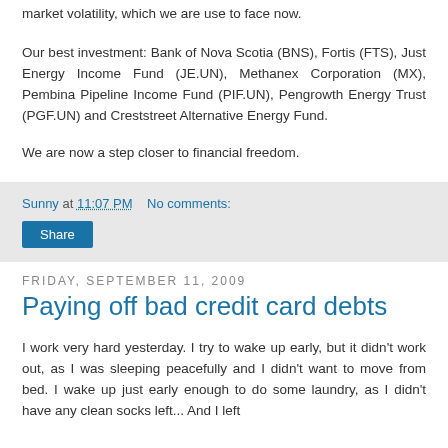market volatility, which we are use to face now.
Our best investment: Bank of Nova Scotia (BNS), Fortis (FTS), Just Energy Income Fund (JE.UN), Methanex Corporation (MX), Pembina Pipeline Income Fund (PIF.UN), Pengrowth Energy Trust (PGF.UN) and Creststreet Alternative Energy Fund.
We are now a step closer to financial freedom.
Sunny at 11:07 PM   No comments:
Share
Friday, September 11, 2009
Paying off bad credit card debts
I work very hard yesterday. I try to wake up early, but it didn't work out, as I was sleeping peacefully and I didn't want to move from bed. I wake up just early enough to do some laundry, as I didn't have any clean socks left... And I left